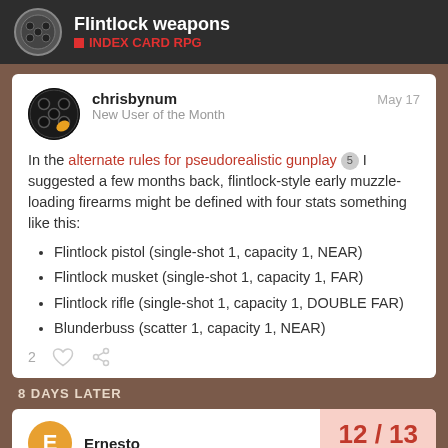Flintlock weapons — INDEX CARD RPG
chrisbynum — New User of the Month — May 17
In the alternate rules for pseudorealistic gunplay 5 I suggested a few months back, flintlock-style early muzzle-loading firearms might be defined with four stats something like this:
Flintlock pistol (single-shot 1, capacity 1, NEAR)
Flintlock musket (single-shot 1, capacity 1, FAR)
Flintlock rifle (single-shot 1, capacity 1, DOUBLE FAR)
Blunderbuss (scatter 1, capacity 1, NEAR)
2 [likes] [link]
8 DAYS LATER
Ernesto — 12 / 13